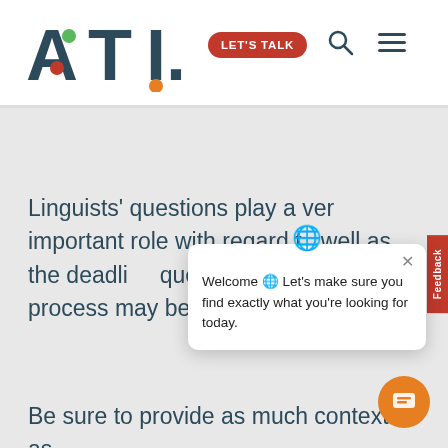[Figure (logo): ATL logo with colored dots]
LET'S TALK
Linguists' questions play a very important role with regard t... well as the deadli... question is not an... process may be blocked.
Welcome 🌐 Let's make sure you find exactly what you're looking for today.
Be sure to provide as much context as